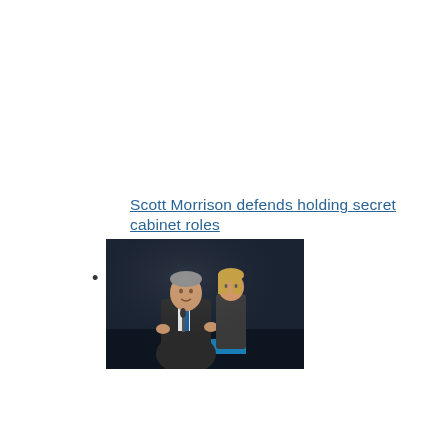Scott Morrison defends holding secret cabinet roles
[Figure (photo): Photo of Scott Morrison speaking at a podium with a woman standing behind him, dark background]